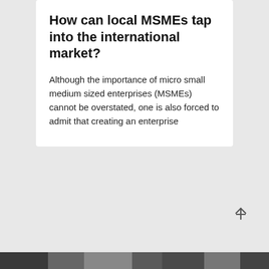How can local MSMEs tap into the international market?
Although the importance of micro small medium sized enterprises (MSMEs) cannot be overstated, one is also forced to admit that creating an enterprise
[Figure (photo): Partial photo strip visible at the bottom of the page, appears to show people or objects in grayscale tones]